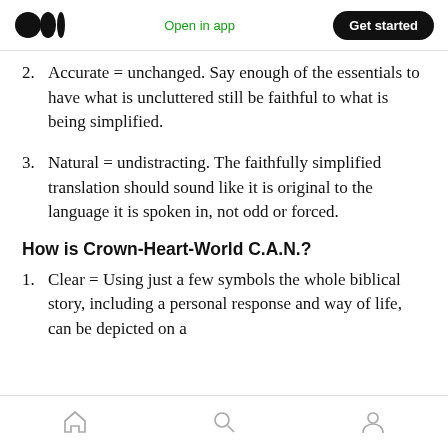Medium logo | Open in app | Get started
2. Accurate = unchanged. Say enough of the essentials to have what is uncluttered still be faithful to what is being simplified.
3. Natural = undistracting. The faithfully simplified translation should sound like it is original to the language it is spoken in, not odd or forced.
How is Crown-Heart-World C.A.N.?
1. Clear = Using just a few symbols the whole biblical story, including a personal response and way of life, can be depicted on a
Home | Search | Profile